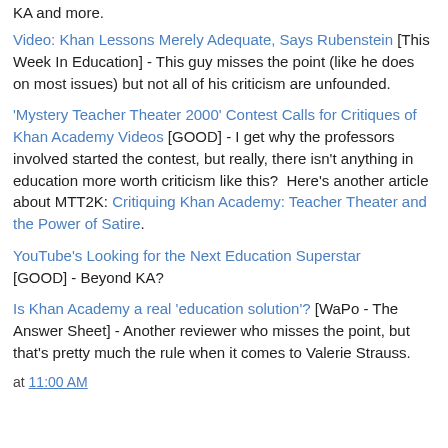KA and more.
Video: Khan Lessons Merely Adequate, Says Rubenstein [This Week In Education] - This guy misses the point (like he does on most issues) but not all of his criticism are unfounded.
'Mystery Teacher Theater 2000' Contest Calls for Critiques of Khan Academy Videos [GOOD] - I get why the professors involved started the contest, but really, there isn't anything in education more worth criticism like this?  Here's another article about MTT2K: Critiquing Khan Academy: Teacher Theater and the Power of Satire.
YouTube's Looking for the Next Education Superstar [GOOD] - Beyond KA?
Is Khan Academy a real 'education solution'? [WaPo - The Answer Sheet] - Another reviewer who misses the point, but that's pretty much the rule when it comes to Valerie Strauss.
at 11:00 AM